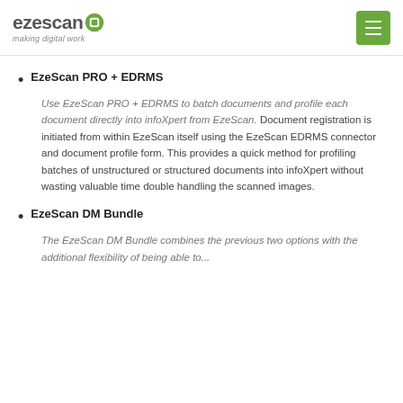ezescan · making digital work
EzeScan PRO + EDRMS
Use EzeScan PRO + EDRMS to batch documents and profile each document directly into infoXpert from EzeScan. Document registration is initiated from within EzeScan itself using the EzeScan EDRMS connector and document profile form. This provides a quick method for profiling batches of unstructured or structured documents into infoXpert without wasting valuable time double handling the scanned images.
EzeScan DM Bundle
The EzeScan DM Bundle combines the previous two options with the additional flexibility of being able to...